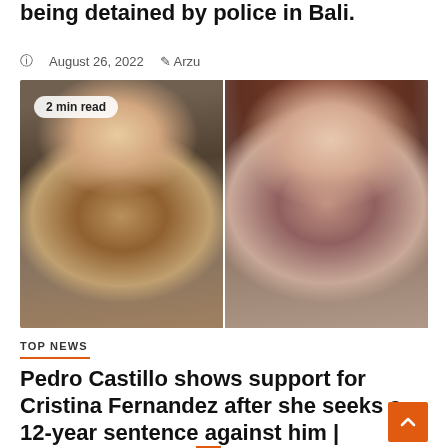being detained by police in Bali.
August 26, 2022   Arzu
[Figure (photo): Two politicians side by side: left shows a man holding a microphone speaking, right shows a woman gesturing with her hand. Badge reads '2 min read'.]
TOP NEWS
Pedro Castillo shows support for Cristina Fernandez after she seeks a 12-year sentence against him | Argentina | Alberto Fernandez | Gustave Pedro | AMLO | Louise